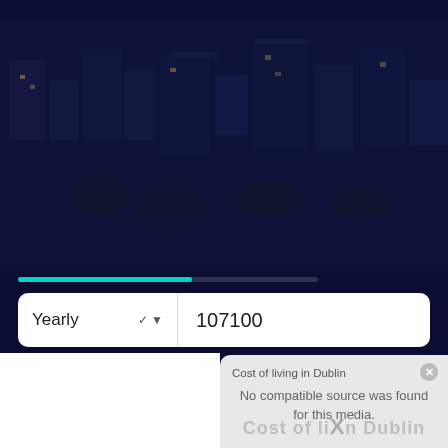[Figure (photo): Aerial/elevated view of a European city (Dublin) with buildings and trees, overlaid with a dark navy blue tint]
[Figure (infographic): A teal/cyan horizontal progress bar indicator]
Yearly   107100
40
Cost of living in Dublin
No compatible source was found for this media.
Cost of living in Dublin